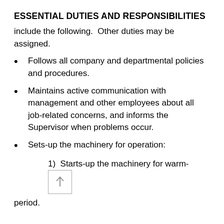ESSENTIAL DUTIES AND RESPONSIBILITIES
include the following.  Other duties may be assigned.
Follows all company and departmental policies and procedures.
Maintains active communication with management and other employees about all job-related concerns, and informs the Supervisor when problems occur.
Sets-up the machinery for operation:
1)  Starts-up the machinery for warm-up period.